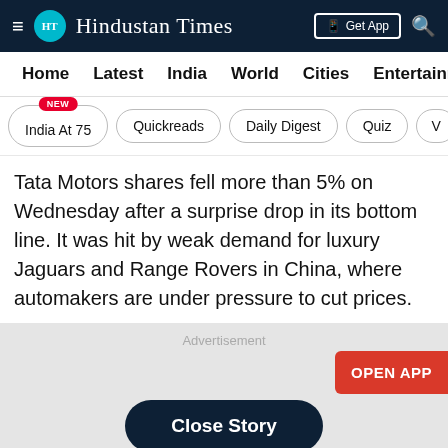Hindustan Times — Get App
Home  Latest  India  World  Cities  Entertainment
India At 75 NEW  Quickreads  Daily Digest  Quiz
Tata Motors shares fell more than 5% on Wednesday after a surprise drop in its bottom line. It was hit by weak demand for luxury Jaguars and Range Rovers in China, where automakers are under pressure to cut prices.
[Figure (screenshot): Advertisement area with OPEN APP button and Close Story button]